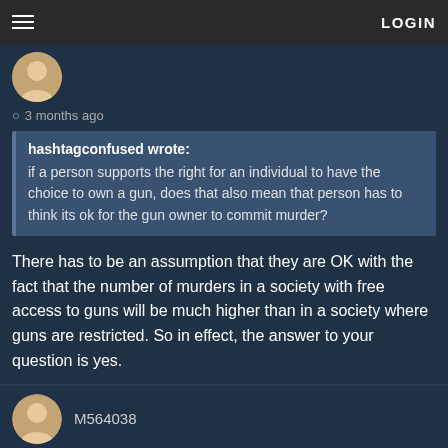LOGIN
3 months ago
hashtagconfused wrote: if a person supports the right for an individual to have the choice to own a gun, does that also mean that person has to think its ok for the gun owner to commit murder?
There has to be an assumption that they are OK with the fact that the number of murders in a society with free access to guns will be much higher than in a society where guns are restricted. So in effect, the answer to your question is yes.
M564038
3 months ago
I do believe I did spell it out quite clearly, but I don't mind repeating.
Most crime aren't driven by bloodlust. If crime for money and valuables aren't met by guns, the criminal won't